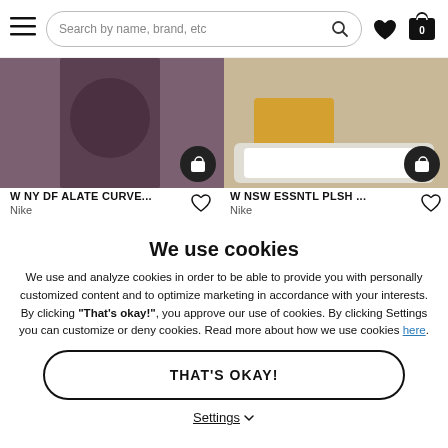[Figure (screenshot): Website header with hamburger menu, search bar saying 'Search by name, brand, etc', heart icon, and shopping bag icon with 0]
[Figure (photo): Two Nike product tiles: left showing cropped torso with dark workout leggings (W NY DF ALATE CURVE...), right showing feet/legs in orange pants with white sneakers (W NSW ESSNTL PLSH...)]
W NY DF ALATE CURVE...
Nike
W NSW ESSNTL PLSH ...
Nike
We use cookies
We use and analyze cookies in order to be able to provide you with personally customized content and to optimize marketing in accordance with your interests. By clicking "That's okay!", you approve our use of cookies. By clicking Settings you can customize or deny cookies. Read more about how we use cookies here.
THAT'S OKAY!
Settings